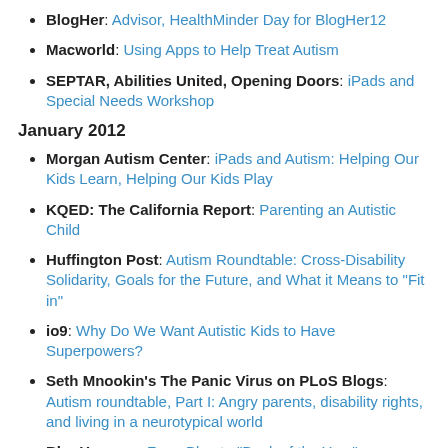BlogHer: Advisor, HealthMinder Day for BlogHer12
Macworld: Using Apps to Help Treat Autism
SEPTAR, Abilities United, Opening Doors: iPads and Special Needs Workshop
January 2012
Morgan Autism Center: iPads and Autism: Helping Our Kids Learn, Helping Our Kids Play
KQED: The California Report: Parenting an Autistic Child
Huffington Post: Autism Roundtable: Cross-Disability Solidarity, Goals for the Future, and What it Means to "Fit in"
io9: Why Do We Want Autistic Kids to Have Superpowers?
Seth Mnookin's The Panic Virus on PLoS Blogs: Autism roundtable, Part I: Angry parents, disability rights, and living in a neurotypical world
BlogHer.com: From Blog to "Book of the Year":